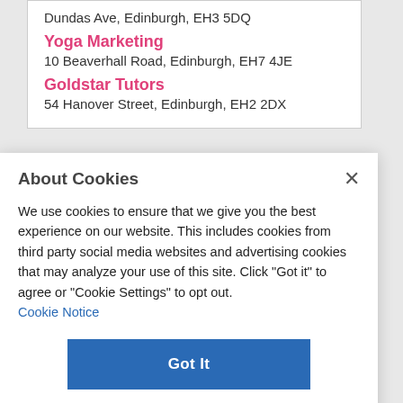Dundas Ave, Edinburgh, EH3 5DQ
Yoga Marketing
10 Beaverhall Road, Edinburgh, EH7 4JE
Goldstar Tutors
54 Hanover Street, Edinburgh, EH2 2DX
About Cookies
We use cookies to ensure that we give you the best experience on our website. This includes cookies from third party social media websites and advertising cookies that may analyze your use of this site. Click "Got it" to agree or "Cookie Settings" to opt out.
Cookie Notice
Got It
Cookies Settings